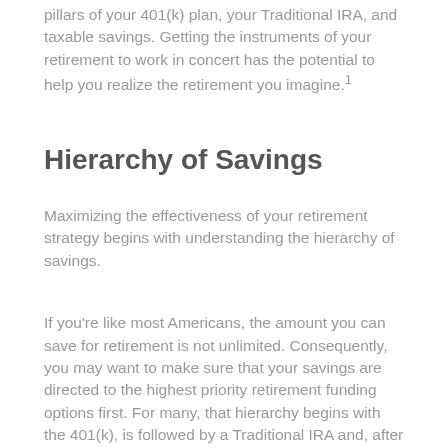pillars of your 401(k) plan, your Traditional IRA, and taxable savings. Getting the instruments of your retirement to work in concert has the potential to help you realize the retirement you imagine.¹
Hierarchy of Savings
Maximizing the effectiveness of your retirement strategy begins with understanding the hierarchy of savings.
If you're like most Americans, the amount you can save for retirement is not unlimited. Consequently, you may want to make sure that your savings are directed to the highest priority retirement funding options first. For many, that hierarchy begins with the 401(k), is followed by a Traditional IRA and, after that